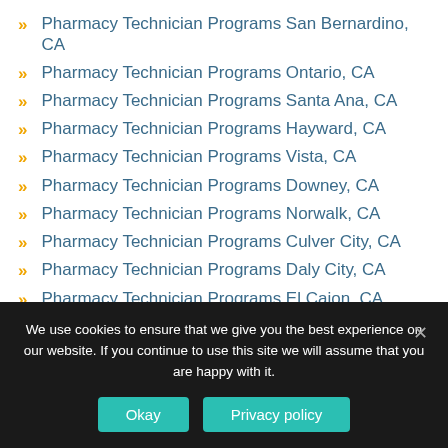Pharmacy Technician Programs San Bernardino, CA
Pharmacy Technician Programs Ontario, CA
Pharmacy Technician Programs Santa Ana, CA
Pharmacy Technician Programs Hayward, CA
Pharmacy Technician Programs Vista, CA
Pharmacy Technician Programs Downey, CA
Pharmacy Technician Programs Norwalk, CA
Pharmacy Technician Programs Culver City, CA
Pharmacy Technician Programs Daly City, CA
Pharmacy Technician Programs El Cajon, CA
Pharmacy Technician Programs Visalia, CA
California Pharmacy Technician Requirements and Training Programs
We use cookies to ensure that we give you the best experience on our website. If you continue to use this site we will assume that you are happy with it.